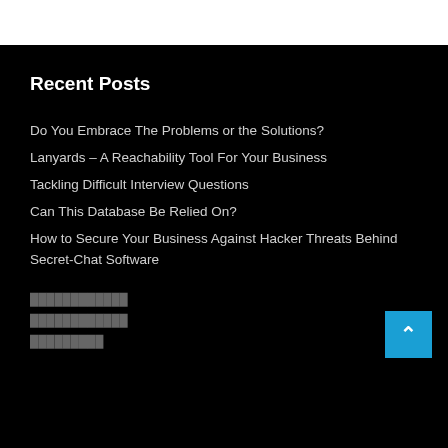Recent Posts
Do You Embrace The Problems or the Solutions?
Lanyards – A Reachability Tool For Your Business
Tackling Difficult Interview Questions
Can This Database Be Relied On?
How to Secure Your Business Against Hacker Threats Behind Secret-Chat Software
████████████
████████████
█████████